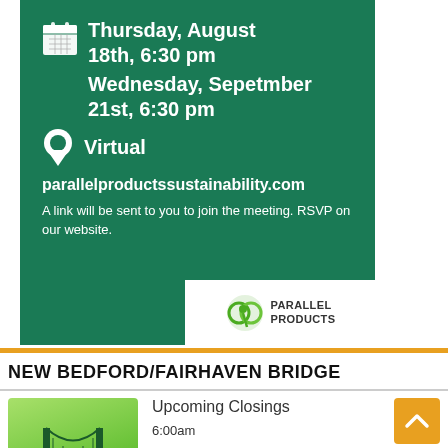[Figure (infographic): Green banner with calendar dates (Thursday August 18th 6:30pm, Wednesday September 21st 6:30pm), location pin icon with 'Virtual', website URL parallelproductssustainability.com, description text, and Parallel Products logo]
NEW BEDFORD/FAIRHAVEN BRIDGE
[Figure (illustration): Green square icon showing a suspension bridge silhouette]
Upcoming Closings
6:00am
7:00am
8:00am
Translate »